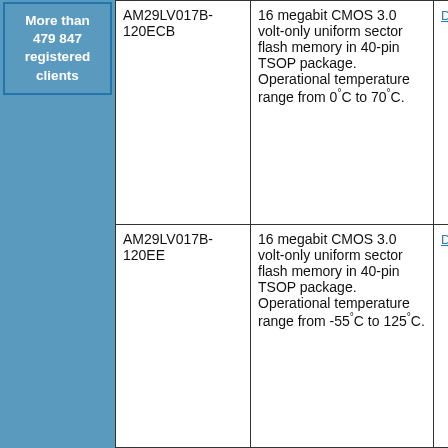More than 479 847 registered clients
| Part Number | Description | Link |
| --- | --- | --- |
| AM29LV017B-120ECB | 16 megabit CMOS 3.0 volt-only uniform sector flash memory in 40-pin TSOP package. Operational temperature range from 0°C to 70°C. | Datasheet |
| AM29LV017B-120EE | 16 megabit CMOS 3.0 volt-only uniform sector flash memory in 40-pin TSOP package. Operational temperature range from -55°C to 125°C. | Datasheet |